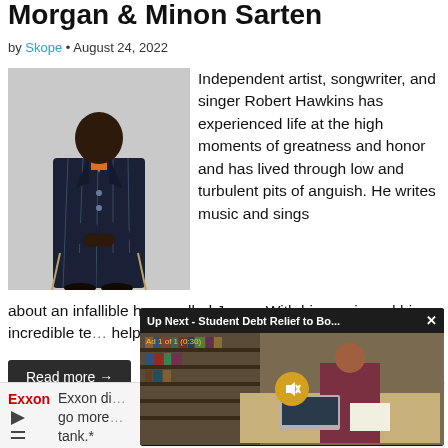Morgan & Minon Sarten
by Skope • August 24, 2022
[Figure (photo): Man in dark pinstripe suit sitting on a chair, wearing an orange shirt underneath]
Independent artist, songwriter, and singer Robert Hawkins has experienced life at the high moments of greatness and honor and has lived through low and turbulent pits of anguish. He writes music and sings about an infallible hope called Jesus. With his music and his incredible te... helping others find t...
Read more →
[Figure (screenshot): Video ad overlay showing 'Up Next - Student Debt Relief to Bo...' with a library scene and a mute button. Ad 1 of 1 (0:30)]
Exxon di... go more... tank.*
[Figure (logo): Exxon logo]